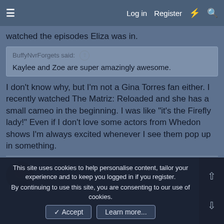≡   Log in   Register   ⚡   🔍
watched the episodes Eliza was in.
BuffyNvrForgets said: ↑
Kaylee and Zoe are super amazingly awesome.
I don't know why, but I'm not a Gina Torres fan either. I recently watched The Matriz: Reloaded and she has a small cameo in the beginning. I was like "it's the Firefly lady!" Even if I don't love some actors from Whedon shows I'm always excited whenever I see them pop up in something.
BuffyNvrForgets
Little Albatross
This site uses cookies to help personalise content, tailor your experience and to keep you logged in if you register.
By continuing to use this site, you are consenting to our use of cookies.
✓ Accept   Learn more...